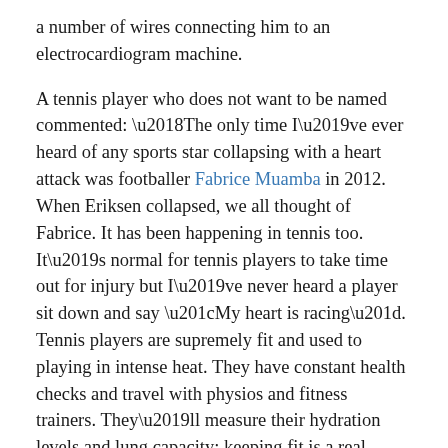a number of wires connecting him to an electrocardiogram machine.
A tennis player who does not want to be named commented: ‘The only time I’ve ever heard of any sports star collapsing with a heart attack was footballer Fabrice Muamba in 2012. When Eriksen collapsed, we all thought of Fabrice. It has been happening in tennis too. It’s normal for tennis players to take time out for injury but I’ve never heard a player sit down and say “My heart is racing”. Tennis players are supremely fit and used to playing in intense heat. They have constant health checks and travel with physios and fitness trainers. They’ll measure their hydration levels and lung capacity; keeping fit is a real science.’
Seven men and women tennis players retired